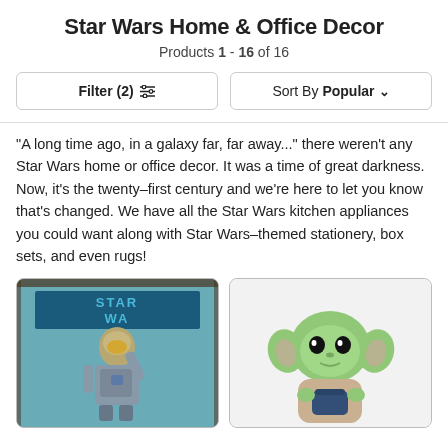Star Wars Home & Office Decor
Products 1 - 16 of 16
Filter (2)  Sort By Popular
"A long time ago, in a galaxy far, far away..." there weren't any Star Wars home or office decor. It was a time of great darkness. Now, it's the twenty–first century and we're here to let you know that's changed. We have all the Star Wars kitchen appliances you could want along with Star Wars–themed stationery, box sets, and even rugs!
[Figure (photo): Star Wars Mandalorian rug/tapestry product image showing the Mandalorian character in armor against a Star Wars logo background]
[Figure (photo): Baby Yoda (Grogu) plush stuffed animal toy holding a dark blue cup]